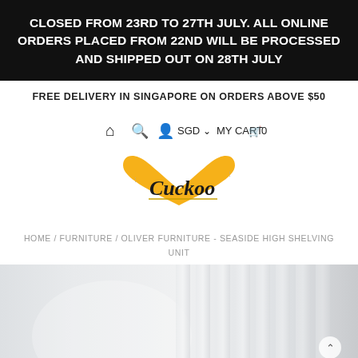CLOSED FROM 23rd to 27th JULY. ALL ONLINE ORDERS PLACED FROM 22nd WILL BE PROCESSED AND SHIPPED OUT ON 28th JULY
FREE DELIVERY IN SINGAPORE ON ORDERS ABOVE $50
HOME / FURNITURE / OLIVER FURNITURE - SEASIDE HIGH SHELVING UNIT
[Figure (photo): Product image of shelving unit - white vertical panels/shelves on grey background]